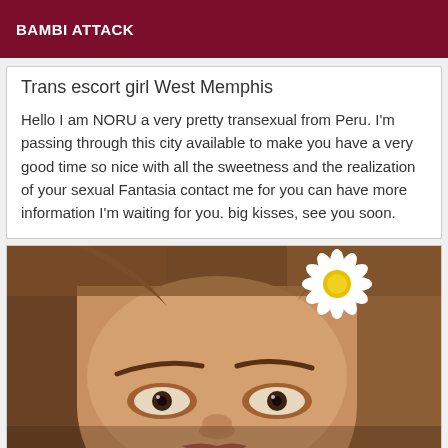BAMBI ATTACK
Trans escort girl West Memphis
Hello I am NORU a very pretty transexual from Peru. I'm passing through this city available to make you have a very good time so nice with all the sweetness and the realization of your sexual Fantasia contact me for you can have more information I'm waiting for you. big kisses, see you soon.
[Figure (photo): Close-up photo of a young woman's face with a white daisy flower in her hair, looking at camera with dark eyes, warm skin tone.]